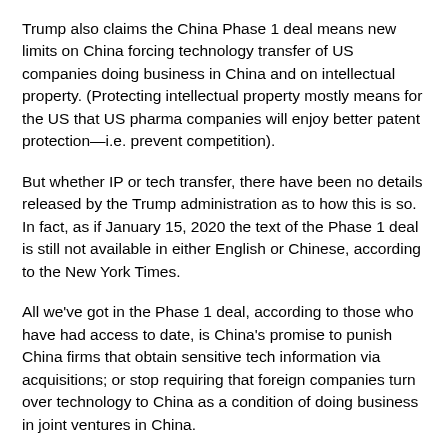Trump also claims the China Phase 1 deal means new limits on China forcing technology transfer of US companies doing business in China and on intellectual property. (Protecting intellectual property mostly means for the US that US pharma companies will enjoy better patent protection—i.e. prevent competition).
But whether IP or tech transfer, there have been no details released by the Trump administration as to how this is so. In fact, as if January 15, 2020 the text of the Phase 1 deal is still not available in either English or Chinese, according to the New York Times.
All we've got in the Phase 1 deal, according to those who have had access to date, is China's promise to punish China firms that obtain sensitive tech information via acquisitions; or stop requiring that foreign companies turn over technology to China as a condition of doing business in joint ventures in China.
But certainly in any joint venture tech information can be obtained by means other than formally turning it over to China government officials. And clearly it appears that acquiring on the cheap has…